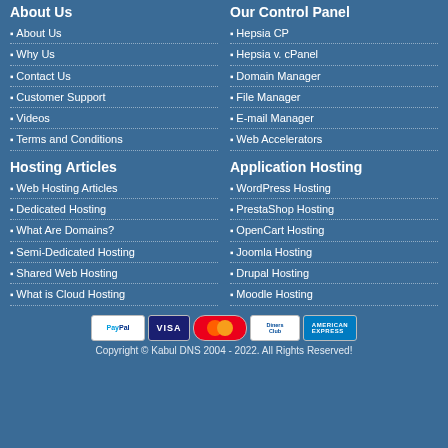About Us
About Us
Why Us
Contact Us
Customer Support
Videos
Terms and Conditions
Our Control Panel
Hepsia CP
Hepsia v. cPanel
Domain Manager
File Manager
E-mail Manager
Web Accelerators
Hosting Articles
Web Hosting Articles
Dedicated Hosting
What Are Domains?
Semi-Dedicated Hosting
Shared Web Hosting
What is Cloud Hosting
Application Hosting
WordPress Hosting
PrestaShop Hosting
OpenCart Hosting
Joomla Hosting
Drupal Hosting
Moodle Hosting
[Figure (infographic): Payment method logos: PayPal, VISA, MasterCard, Diners Club, American Express]
Copyright © Kabul DNS 2004 - 2022. All Rights Reserved!